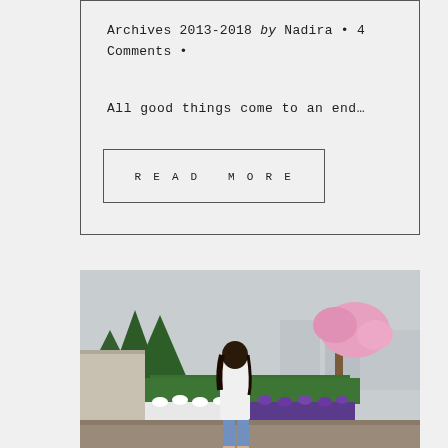Archives 2013-2018 by Nadira • 4 Comments •
All good things come to an end…
READ MORE
[Figure (photo): Woman in white off-shoulder top and jeans standing in a park with green hedges, colorful flower beds of white and purple flowers, evergreen trees and a pink cherry blossom tree in the background, cloudy sky, brick pavement underfoot.]